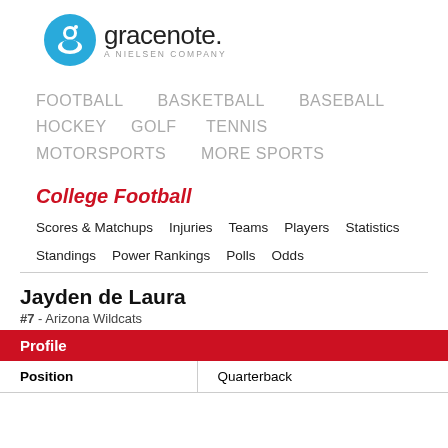[Figure (logo): Gracenote logo — cyan circle with white 'g' icon and 'gracenote. A NIELSEN COMPANY' text]
FOOTBALL   BASKETBALL   BASEBALL
HOCKEY   GOLF   TENNIS
MOTORSPORTS   MORE SPORTS
College Football
Scores & Matchups   Injuries   Teams   Players   Statistics
Standings   Power Rankings   Polls   Odds
Jayden de Laura
#7 - Arizona Wildcats
Profile
| Position |  |
| --- | --- |
| Position | Quarterback |